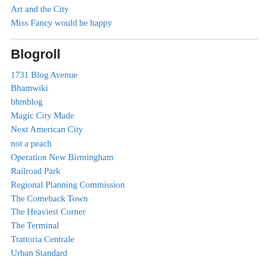Art and the City
Miss Fancy would be happy
Blogroll
1731 Blog Avenue
Bhamwiki
bhmblog
Magic City Made
Next American City
not a peach
Operation New Birmingham
Railroad Park
Regional Planning Commission
The Comeback Town
The Heaviest Corner
The Terminal
Trattoria Centrale
Urban Standard